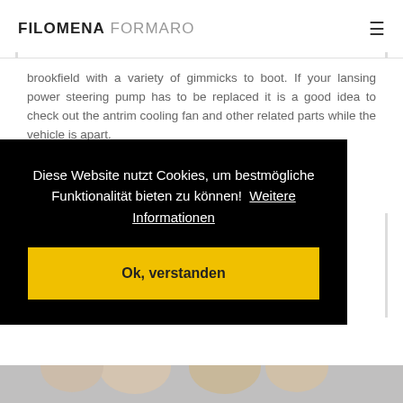FILOMENA FORMARO
brookfield with a variety of gimmicks to boot. If your lansing power steering pump has to be replaced it is a good idea to check out the antrim cooling fan and other related parts while the vehicle is apart.
No payments top rated online dating sites for men
Diese Website nutzt Cookies, um bestmögliche Funktionalität bieten zu können!  Weitere Informationen
Ok, verstanden
[Figure (photo): Bottom strip showing people smiling, partially visible]